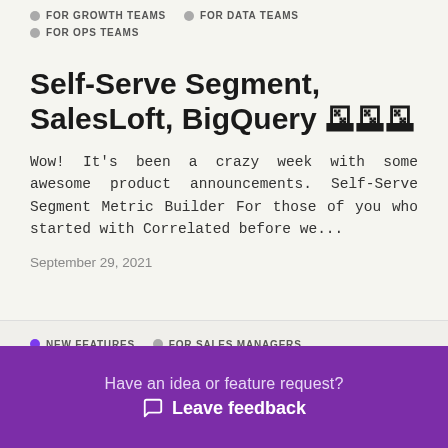FOR GROWTH TEAMS
FOR DATA TEAMS
FOR OPS TEAMS
Self-Serve Segment, SalesLoft, BigQuery 🔲🔲🔲
Wow! It's been a crazy week with some awesome product announcements. Self-Serve Segment Metric Builder For those of you who started with Correlated before we...
September 29, 2021
NEW FEATURES
FOR SALES MANAGERS
FOR SALES REPS
FOR GROWTH TEAMS
Have an idea or feature request?
Leave feedback